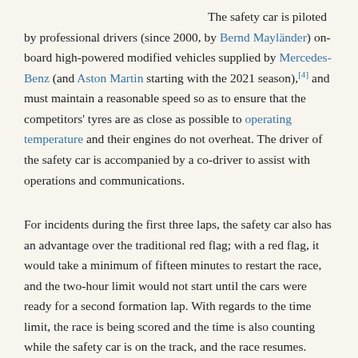The safety car is piloted by professional drivers (since 2000, by Bernd Mayländer) on-board high-powered modified vehicles supplied by Mercedes-Benz (and Aston Martin starting with the 2021 season),[4] and must maintain a reasonable speed so as to ensure that the competitors' tyres are as close as possible to operating temperature and their engines do not overheat. The driver of the safety car is accompanied by a co-driver to assist with operations and communications.
For incidents during the first three laps, the safety car also has an advantage over the traditional red flag; with a red flag, it would take a minimum of fifteen minutes to restart the race, and the two-hour limit would not start until the cars were ready for a second formation lap. With regards to the time limit, the race is being scored and the time is also counting while the safety car is on the track, and the race resumes.
History